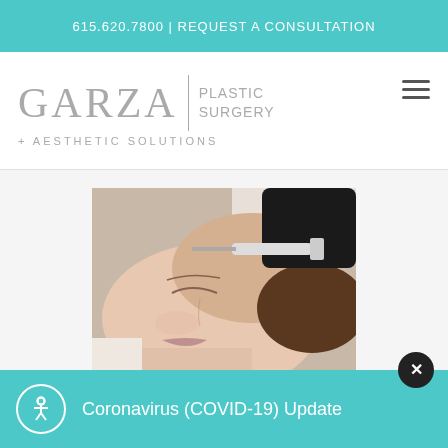615.620.7800 | REQUEST A CONSULTATION
[Figure (logo): Garza Plastic Surgery + Aesthetic Solutions logo with teal accent divider]
[Figure (photo): Woman lying down receiving a facial injection from a gloved hand holding a syringe]
Coronavirus (COVID-19) Update